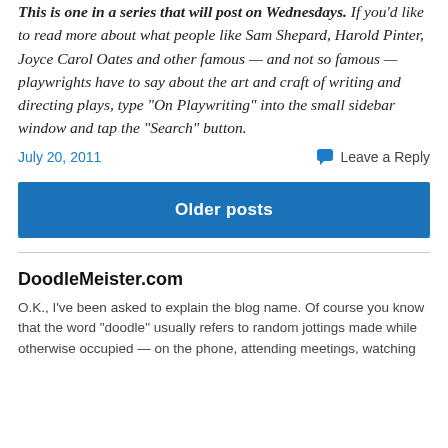This is one in a series that will post on Wednesdays. If you'd like to read more about what people like Sam Shepard, Harold Pinter, Joyce Carol Oates and other famous — and not so famous — playwrights have to say about the art and craft of writing and directing plays, type "On Playwriting" into the small sidebar window and tap the "Search" button.
July 20, 2011    Leave a Reply
Older posts
DoodleMeister.com
O.K., I've been asked to explain the blog name. Of course you know that the word "doodle" usually refers to random jottings made while otherwise occupied — on the phone, attending meetings, watching...